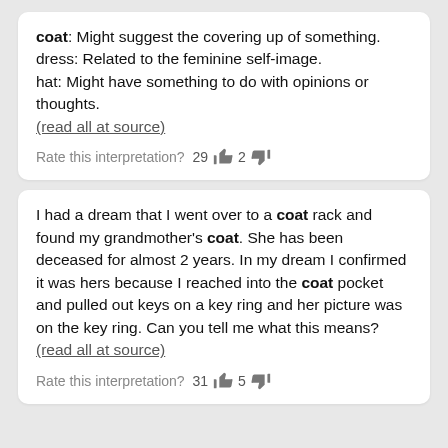coat: Might suggest the covering up of something.
dress: Related to the feminine self-image.
hat: Might have something to do with opinions or thoughts.
(read all at source)
Rate this interpretation? 29 👍 2 👎
I had a dream that I went over to a coat rack and found my grandmother's coat. She has been deceased for almost 2 years. In my dream I confirmed it was hers because I reached into the coat pocket and pulled out keys on a key ring and her picture was on the key ring. Can you tell me what this means?
(read all at source)
Rate this interpretation? 31 👍 5 👎